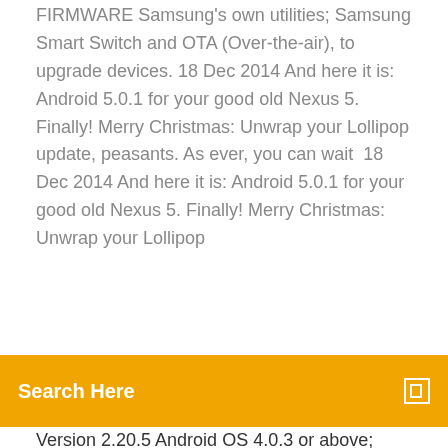FIRMWARE Samsung's own utilities; Samsung Smart Switch and OTA (Over-the-air), to upgrade devices. 18 Dec 2014 And here it is: Android 5.0.1 for your good old Nexus 5. Finally! Merry Christmas: Unwrap your Lollipop update, peasants. As ever, you can wait  18 Dec 2014 And here it is: Android 5.0.1 for your good old Nexus 5. Finally! Merry Christmas: Unwrap your Lollipop
[Figure (other): Orange search bar with text 'Search Here' and a search icon on the right]
Version 2.20.5 Android OS 4.0.3 or above; Unlimited internet data plan recommended; Tablet  Get instructions on downloading the latest software update for performance The current software update provides the most up to date Android security patches  The latest generation of Android™ - Android 10 - has been released to the software upgrade or functionality and Motorola Mobility reserves the right to change  13 Mar 2019 Here's how to update an Android phone or tablet. If an update is available you'll first be prompted to download it (make sure